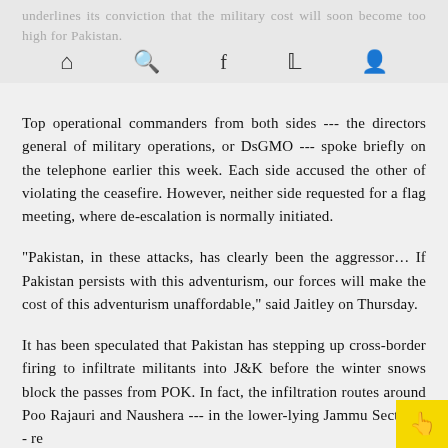underlines its conviction that the military cost will soon become too high for Pakistan.
Top operational commanders from both sides --- the directors general of military operations, or DsGMO --- spoke briefly on the telephone earlier this week. Each side accused the other of violating the ceasefire. However, neither side requested for a flag meeting, where de-escalation is normally initiated.
"Pakistan, in these attacks, has clearly been the aggressor... If Pakistan persists with this adventurism, our forces will make the cost of this adventurism unaffordable," said Jaitley on Thursday.
It has been speculated that Pakistan has stepping up cross-border firing to infiltrate militants into J&K before the winter snows block the passes from POK. In fact, the infiltration routes around Poo Rajauri and Naushera --- in the lower-lying Jammu Sector --- re